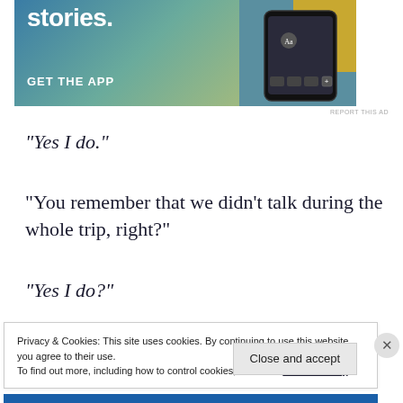[Figure (illustration): App advertisement banner with gradient background (blue to yellow-green), showing 'stories.' text, 'GET THE APP' call to action, and a phone mockup with outdoor/adventure imagery on the right side.]
REPORT THIS AD
“Yes I do.”
“You remember that we didn’t talk during the whole trip, right?”
“Yes I do?”
Privacy & Cookies: This site uses cookies. By continuing to use this website, you agree to their use.
To find out more, including how to control cookies, see here: Cookie Policy
Close and accept